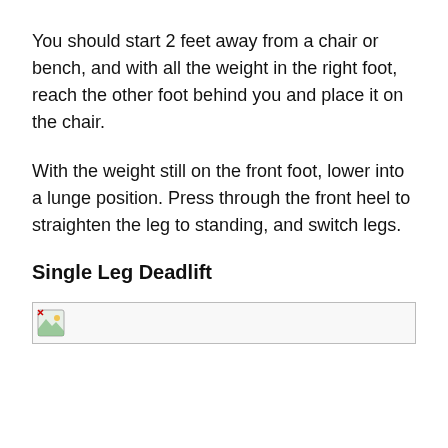You should start 2 feet away from a chair or bench, and with all the weight in the right foot, reach the other foot behind you and place it on the chair.
With the weight still on the front foot, lower into a lunge position. Press through the front heel to straighten the leg to standing, and switch legs.
Single Leg Deadlift
[Figure (photo): Broken image placeholder for a photo related to Single Leg Deadlift exercise]